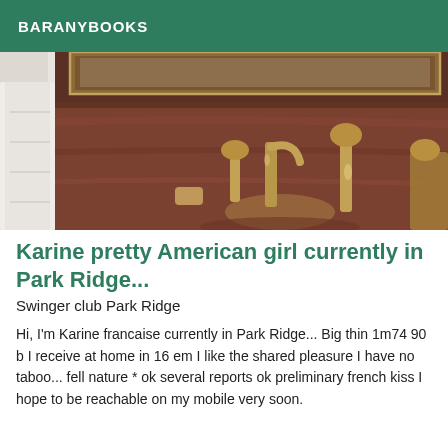BARANYBOOKS
[Figure (photo): Close-up photograph of an ornate bathroom sink with antique brass/gold faucet hardware set into a dark reddish-brown marble or granite countertop, with a framed mirror visible at the top and a white towel on the left side.]
Karine pretty American girl currently in Park Ridge...
Swinger club Park Ridge
Hi, I'm Karine francaise currently in Park Ridge... Big thin 1m74 90 b I receive at home in 16 em I like the shared pleasure I have no taboo... fell nature * ok several reports ok preliminary french kiss I hope to be reachable on my mobile very soon.